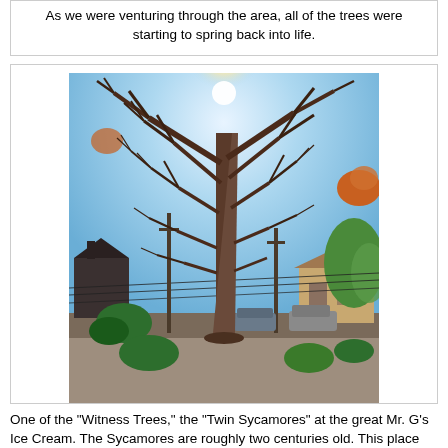As we were venturing through the area, all of the trees were starting to spring back into life.
[Figure (photo): A tall bare sycamore tree photographed against a bright blue sky with sun flare at the top. Houses, power lines, parked cars, and green shrubs visible in the background. The tree has no leaves and dominates the frame.]
One of the "Witness Trees," the "Twin Sycamores" at the great Mr. G's Ice Cream. The Sycamores are roughly two centuries old. This place cannot